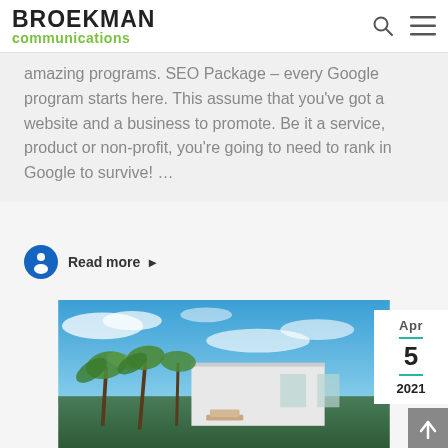BROEKMAN communications
amazing programs. SEO Package – every Google program starts here. This assume that you've got a website and a business to promote. Be it a service, product or non-profit, you're going to need to rank in Google to survive! …
Read more ▶
[Figure (photo): Tropical residential building with palm trees under blue sky with clouds, date badge showing Apr 5 2021 in top right corner]